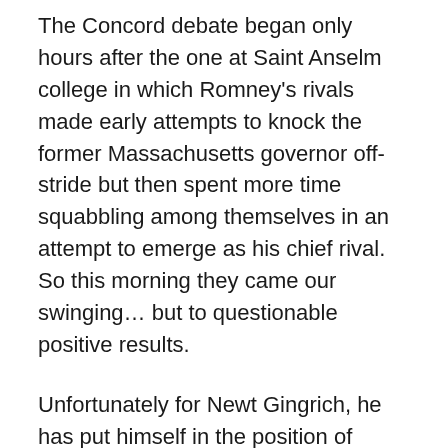The Concord debate began only hours after the one at Saint Anselm college in which Romney's rivals made early attempts to knock the former Massachusetts governor off-stride but then spent more time squabbling among themselves in an attempt to emerge as his chief rival. So this morning they came our swinging… but to questionable positive results.
Unfortunately for Newt Gingrich, he has put himself in the position of being the wounded whiner throwing rocks instead or the statesman with the best lines and debating skills as people saw him a month ago. Today he even repeated a charge from a past debate that Romney had already answered well.
Santorum, took a swipe at Romney, asking why he hadn't sought re-election as governor after one term, but in the